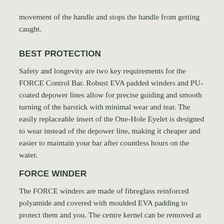movement of the handle and stops the handle from getting caught.
BEST PROTECTION
Safety and longevity are two key requirements for the FORCE Control Bar. Robust EVA padded winders and PU-coated depower lines allow for precise guiding and smooth turning of the barstick with minimal wear and tear. The easily replaceable insert of the One-Hole Eyelet is designed to wear instead of the depower line, making it cheaper and easier to maintain your bar after countless hours on the water.
FORCE WINDER
The FORCE winders are made of fibreglass reinforced polyamide and covered with moulded EVA padding to protect them and you. The centre kernel can be removed at the touch of a button to gain access to the bar width adjustment options. This allows you to adjust bar width to suit your